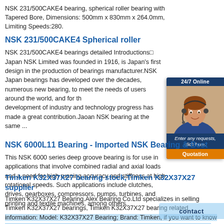NSK 231/500CAKE4 bearing, spherical roller bearing with Tapered Bore, Dimensions: 500mm x 830mm x 264.0mm, Limiting Speeds:280.
NSK 231/500CAKE4 Spherical roller
NSK 231/500CAKE4 bearings detailed Introductions□ Japan NSK Limited was founded in 1916, is Japan's first design in the production of bearings manufacturer.NSK Japan bearings has developed over the decades, numerous new bearing, to meet the needs of users around the world, and for the development of industry and technology progress has made a great contribution.Jaoan NSK bearing at the same ...
[Figure (photo): Customer service representative with headset, 24/7 Online widget with Quotation button]
NSK 6000L11 Bearing - Imported NSK Bearing & Best
This NSK 6000 series deep groove bearing is for use in applications that involve combined radial and axial loads and a need for high running accuracy and stiffness at high rotational speeds. Such applications include clutches, drives, gearboxes, compressors, pumps, turbines, and printing and textile machines, among others.
Timken K32X37X27 bearing stock,Timken K32X37X27 supplier
Timken K32X37X27 Bearing.Alex Bearing Co.Ltd specializes in selling Timken K32X37X27 bearings, Timken K32X37X27 bearing related information: Model: K32X37X27 Bearing; Brand: Timken, if you want to know more about Timken K32X37X27 Bearing for information, you can do online consultation or call the